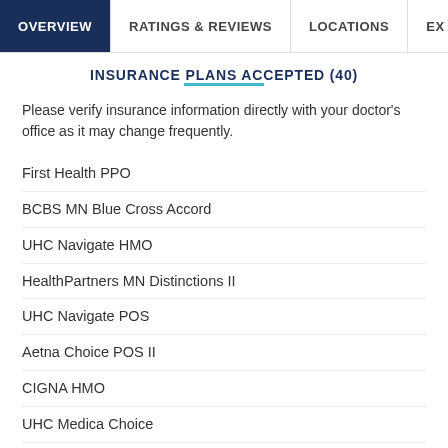OVERVIEW | RATINGS & REVIEWS | LOCATIONS | EX
INSURANCE PLANS ACCEPTED (40)
Please verify insurance information directly with your doctor's office as it may change frequently.
First Health PPO
BCBS MN Blue Cross Accord
UHC Navigate HMO
HealthPartners MN Distinctions II
UHC Navigate POS
Aetna Choice POS II
CIGNA HMO
UHC Medica Choice
Multiplan PPO
HealthPartners MN CentraChoice